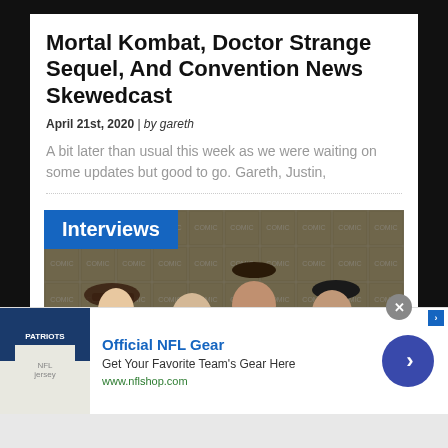Mortal Kombat, Doctor Strange Sequel, And Convention News Skewedcast
April 21st, 2020 | by gareth
A bit later than usual this week as we were waiting on some updates but good to go. Gareth, Justin,
[Figure (photo): Photo of four people posing at what appears to be a Comic-Con event backdrop, with an 'Interviews' label overlay in blue]
Official NFL Gear
Get Your Favorite Team's Gear Here
www.nflshop.com